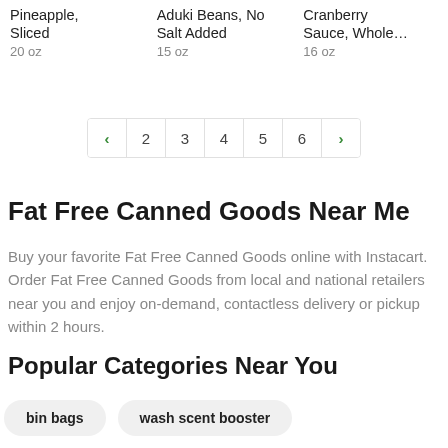Pineapple, Sliced 20 oz
Aduki Beans, No Salt Added 15 oz
Cranberry Sauce, Whole… 16 oz
< 2 3 4 5 6 >
Fat Free Canned Goods Near Me
Buy your favorite Fat Free Canned Goods online with Instacart. Order Fat Free Canned Goods from local and national retailers near you and enjoy on-demand, contactless delivery or pickup within 2 hours.
Popular Categories Near You
bin bags
wash scent booster